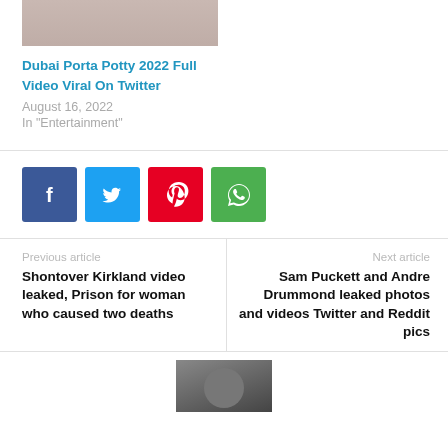[Figure (photo): Partial image of a person at top of page]
Dubai Porta Potty 2022 Full Video Viral On Twitter
August 16, 2022
In "Entertainment"
[Figure (infographic): Social share buttons: Facebook, Twitter, Pinterest, WhatsApp]
Previous article
Shontover Kirkland video leaked, Prison for woman who caused two deaths
Next article
Sam Puckett and Andre Drummond leaked photos and videos Twitter and Reddit pics
[Figure (photo): Thumbnail photo at bottom center of page]